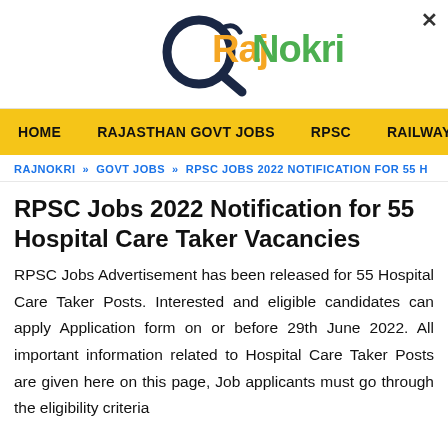[Figure (logo): RajNokri logo with magnifying glass icon. 'Raj' in orange/gold, 'Nokri' in green, circular search icon in dark navy.]
HOME   RAJASTHAN GOVT JOBS   RPSC   RAILWAY   UNIV
RAJNOKRI » GOVT JOBS » RPSC JOBS 2022 NOTIFICATION FOR 55 H
RPSC Jobs 2022 Notification for 55 Hospital Care Taker Vacancies
RPSC Jobs Advertisement has been released for 55 Hospital Care Taker Posts. Interested and eligible candidates can apply Application form on or before 29th June 2022. All important information related to Hospital Care Taker Posts are given here on this page, Job applicants must go through the eligibility criteria